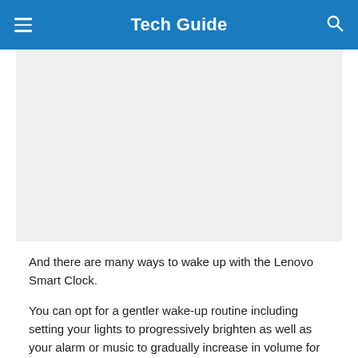Tech Guide
[Figure (other): A light gray rectangular placeholder image area, likely showing a Lenovo Smart Clock product photo]
And there are many ways to wake up with the Lenovo Smart Clock.
You can opt for a gentler wake-up routine including setting your lights to progressively brighten as well as your alarm or music to gradually increase in volume for 30 minutes before your